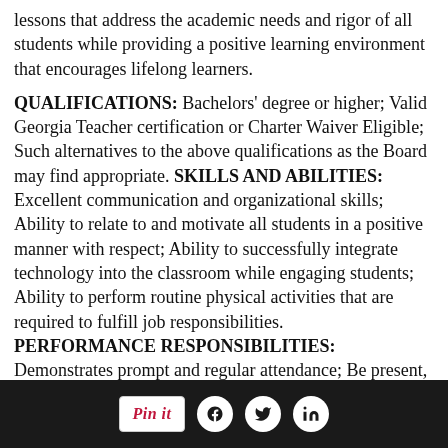lessons that address the academic needs and rigor of all students while providing a positive learning environment that encourages lifelong learners.
QUALIFICATIONS: Bachelors' degree or higher; Valid Georgia Teacher certification or Charter Waiver Eligible; Such alternatives to the above qualifications as the Board may find appropriate. SKILLS AND ABILITIES: Excellent communication and organizational skills; Ability to relate to and motivate all students in a positive manner with respect; Ability to successfully integrate technology into the classroom while engaging students; Ability to perform routine physical activities that are required to fulfill job responsibilities. PERFORMANCE RESPONSIBILITIES: Demonstrates prompt and regular attendance; Be present, organized, and enthusiastically committed to the success of all students; Develops detailed, engaging instructional plans; Develops and uses formative and summative assessments; Instructs designed classes in accordance with formulated plans and outlines, modified as necessary to achieve the learning objectives; all
Social share buttons: Pin it, Facebook, Twitter, LinkedIn